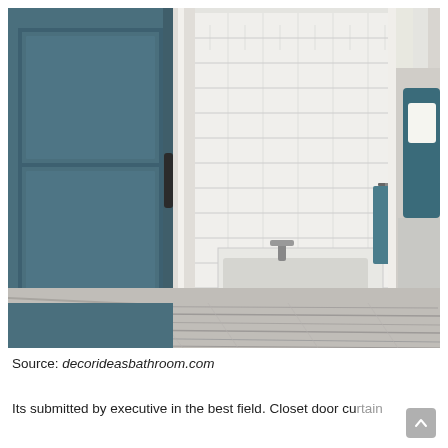[Figure (photo): Interior photo showing a teal/dark blue sliding barn door partially open, revealing a white subway-tiled bathroom with a built-in bathtub, a dark teal towel on a rack, a dark floor mat, and to the right, a glimpse of a bedroom with a teal upholstered headboard; gray wood plank flooring in the foreground.]
Source: decorideasbathroom.com
Its submitted by executive in the best field. Closet door curtain